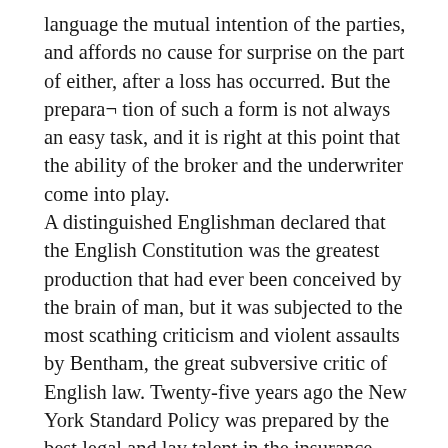language the mutual intention of the parties, and affords no cause for surprise on the part of either, after a loss has occurred. But the prepara¬ tion of such a form is not always an easy task, and it is right at this point that the ability of the broker and the underwriter come into play.
A distinguished Englishman declared that the English Constitution was the greatest production that had ever been conceived by the brain of man, but it was subjected to the most scathing criticism and violent assaults by Bentham, the great subversive critic of English law. Twenty-five years ago the New York Standard Policy was prepared by the best legal and lay talent in the insurance, world, and the greatest care was taken to present not only a reasonable and fair form of contract between the insurer and the insured, but one which could be easily read and understood.
While no such extravagant claims have been made